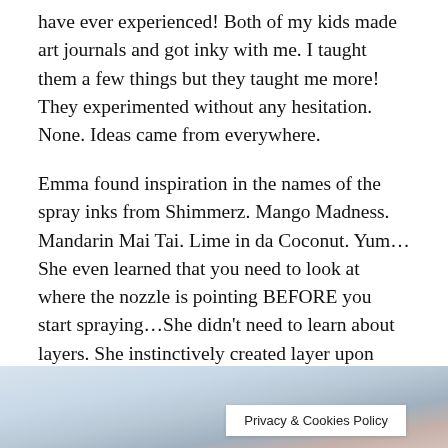have ever experienced! Both of my kids made art journals and got inky with me. I taught them a few things but they taught me more! They experimented without any hesitation. None. Ideas came from everywhere.
Emma found inspiration in the names of the spray inks from Shimmerz. Mango Madness. Mandarin Mai Tai. Lime in da Coconut. Yum… She even learned that you need to look at where the nozzle is pointing BEFORE you start spraying…She didn't need to learn about layers. She instinctively created layer upon layer. There is only a hint of the stencil she started with peeking through.
[Figure (photo): Partial photo showing hands or objects on a surface, with warm and cool tones; partially cropped at the bottom of the page.]
Privacy & Cookies Policy